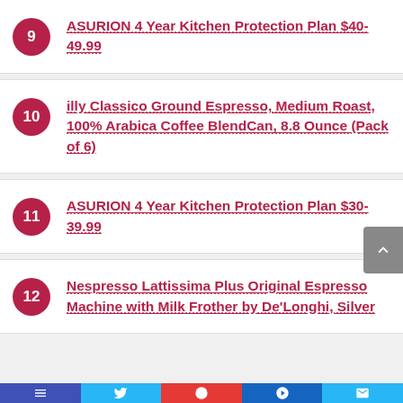9 ASURION 4 Year Kitchen Protection Plan $40-49.99
10 illy Classico Ground Espresso, Medium Roast, 100% Arabica Coffee BlendCan, 8.8 Ounce (Pack of 6)
11 ASURION 4 Year Kitchen Protection Plan $30-39.99
12 Nespresso Lattissima Plus Original Espresso Machine with Milk Frother by De'Longhi, Silver